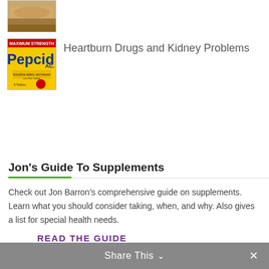[Figure (photo): Thumbnail image of food item (bread/sandwich on wooden surface), partially cropped at top]
[Figure (photo): Pepcid AC Maximum Strength antacid tablet box — yellow packaging with blue logo]
Heartburn Drugs and Kidney Problems
Jon's Guide To Supplements
Check out Jon Barron's comprehensive guide on supplements. Learn what you should consider taking, when, and why. Also gives a list for special health needs.
READ THE GUIDE
Share This ∨  ×